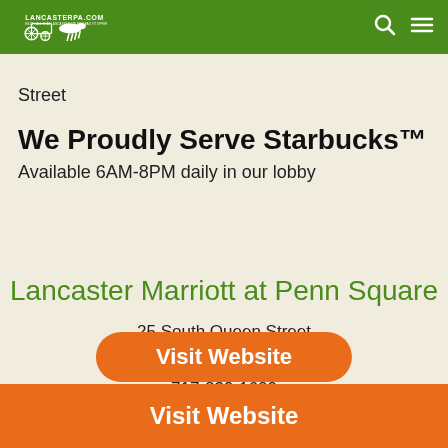LancasterPA.com
Street
We Proudly Serve Starbucks™
Available 6AM-8PM daily in our lobby
Lancaster Marriott at Penn Square
25 South Queen Street
Lancaster, PA  17603
717-239-1600
Visit Website
Visit Website